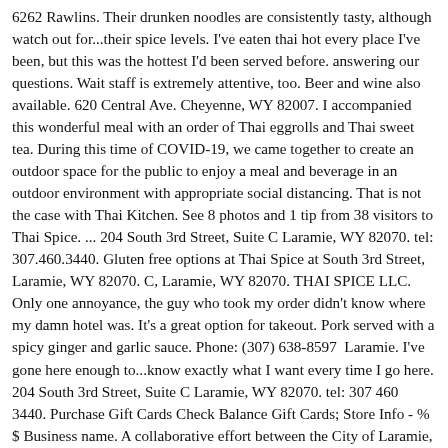6262 Rawlins. Their drunken noodles are consistently tasty, although watch out for...their spice levels. I've eaten thai hot every place I've been, but this was the hottest I'd been served before. answering our questions. Wait staff is extremely attentive, too. Beer and wine also available. 620 Central Ave. Cheyenne, WY 82007. I accompanied this wonderful meal with an order of Thai eggrolls and Thai sweet tea. During this time of COVID-19, we came together to create an outdoor space for the public to enjoy a meal and beverage in an outdoor environment with appropriate social distancing. That is not the case with Thai Kitchen. See 8 photos and 1 tip from 38 visitors to Thai Spice. ... 204 South 3rd Street, Suite C Laramie, WY 82070. tel: 307.460.3440. Gluten free options at Thai Spice at South 3rd Street, Laramie, WY 82070. C, Laramie, WY 82070. THAI SPICE LLC. Only one annoyance, the guy who took my order didn't know where my damn hotel was. It's a great option for takeout. Pork served with a spicy ginger and garlic sauce. Phone: (307) 638-8597  Laramie. I've gone here enough to...know exactly what I want every time I go here. 204 South 3rd Street, Suite C Laramie, WY 82070. tel: 307 460 3440. Purchase Gift Cards Check Balance Gift Cards; Store Info - % $ Business name. A collaborative effort between the City of Laramie, the Laramie Main Street Alliance and local businesses. If you live in a city that has restaurants and hotels, get to know where your hotels are. We find this restaurant reasonably priced too. We will definitely stop again!More, I love going here, while the food